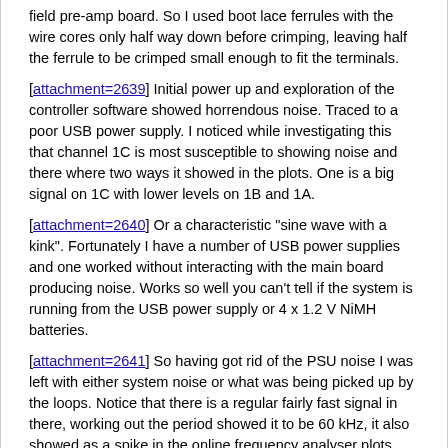field pre-amp board. So I used boot lace ferrules with the wire cores only half way down before crimping, leaving half the ferrule to be crimped small enough to fit the terminals.
[attachment=2639] Initial power up and exploration of the controller software showed horrendous noise. Traced to a poor USB power supply. I noticed while investigating this that channel 1C is most susceptible to showing noise and there where two ways it showed in the plots. One is a big signal on 1C with lower levels on 1B and 1A.
[attachment=2640] Or a characteristic "sine wave with a kink". Fortunately I have a number of USB power supplies and one worked without interacting with the main board producing noise. Works so well you can't tell if the system is running from the USB power supply or 4 x 1.2 V NiMH batteries.
[attachment=2641] So having got rid of the PSU noise I was left with either system noise or what was being picked up by the loops. Notice that there is a regular fairly fast signal in there, working out the period showed it to be 60 kHz, it also showed as a spike in the online frequency analyser plots. MSF, a time standard transmitter, located at Anthorn about 55 km away uses 60 kHz... Filter chips purchased and installed. Eye sight just about up to it and cut off frequency set to 50 KHz, bye bye MSF.
[attachment=2642] No MSF but there is still something there that isn't random noise. Note that it's frequently in phase on 1A and 1B and out of phase on 1C. Doing the maths on the period shows this to be around 20 kHz. Also note that the pattern...